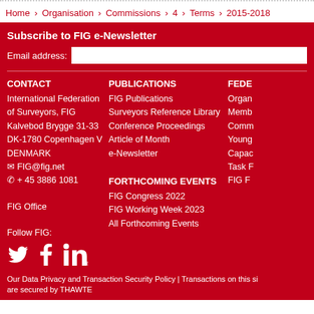Home › Organisation › Commissions › 4 › Terms › 2015-2018
Subscribe to FIG e-Newsletter
Email address:
CONTACT
International Federation of Surveyors, FIG
Kalvebod Brygge 31-33
DK-1780 Copenhagen V
DENMARK
✉ FIG@fig.net
✆ + 45 3886 1081

FIG Office

Follow FIG:
PUBLICATIONS
FIG Publications
Surveyors Reference Library
Conference Proceedings
Article of Month
e-Newsletter
FORTHCOMING EVENTS
FIG Congress 2022
FIG Working Week 2023
All Forthcoming Events
FEDE...
Organ...
Memb...
Comm...
Young...
Capac...
Task F...
FIG F...
Our Data Privacy and Transaction Security Policy | Transactions on this si are secured by THAWTE